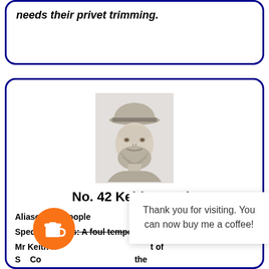needs their privet trimming.
[Figure (illustration): Portrait sketch of a bearded man wearing a flat cap, pencil/grayscale style illustration]
No. 42 Keith Hoople
Aliases: Mr Hoople
Special Powers: A foul temper and an annoying wife.
Mr Keith H... t of S... Co... the he... is a ne... rrey Police.
Thank you for visiting. You can now buy me a coffee!